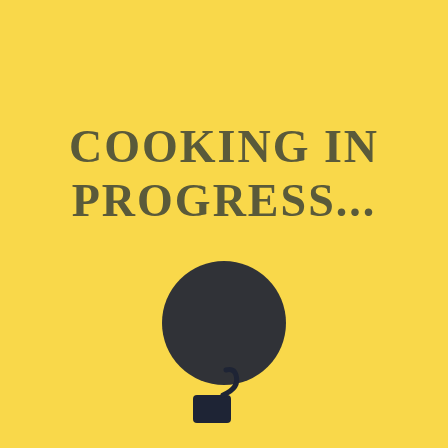COOKING IN PROGRESS...
[Figure (illustration): Large dark navy circle centered horizontally in the middle of the page]
[Figure (illustration): Small dark navy ladle/soup spoon icon near the bottom center of the page]